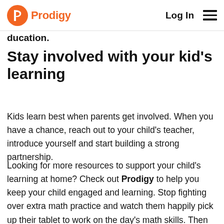Prodigy | Log In
ducation.
Stay involved with your kid’s learning
Kids learn best when parents get involved. When you have a chance, reach out to your child’s teacher, introduce yourself and start building a strong partnership.
Looking for more resources to support your child’s learning at home? Check out Prodigy to help you keep your child engaged and learning. Stop fighting over extra math practice and watch them happily pick up their tablet to work on the day’s math skills. Then use your parent account to view their progress and share insights with your child’s